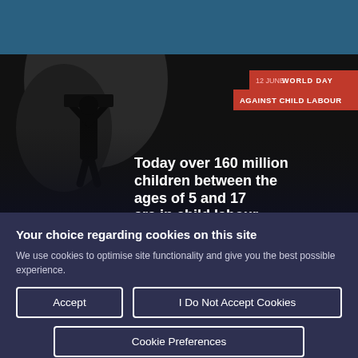ILO website header with logo and navigation menu
[Figure (photo): Black and white photograph of a child carrying a heavy load on their head in a dark urban environment. Overlaid with red banner text: '12 JUNE WORLD DAY AGAINST CHILD LABOUR' and white bold text: 'Today over 160 million children between the ages of 5 and 17 are in child labour']
Your choice regarding cookies on this site
We use cookies to optimise site functionality and give you the best possible experience.
Accept
I Do Not Accept Cookies
Cookie Preferences